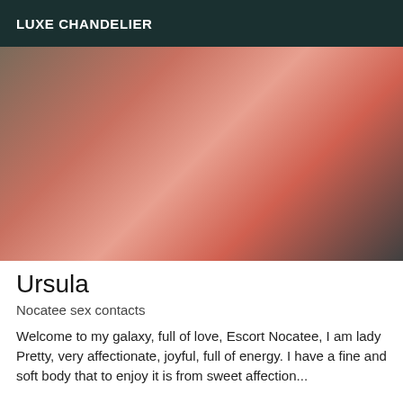LUXE CHANDELIER
[Figure (photo): Close-up photo of a person wearing red lingerie with black straps, posed on dark bedding with a striped fabric visible.]
Ursula
Nocatee sex contacts
Welcome to my galaxy, full of love, Escort Nocatee, I am lady Pretty, very affectionate, joyful, full of energy. I have a fine and soft body that to enjoy it is from sweet affection...